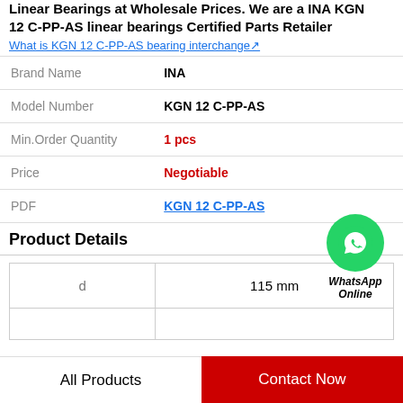Linear Bearings at Wholesale Prices. We are a INA KGN 12 C-PP-AS linear bearings Certified Parts Retailer
What is KGN 12 C-PP-AS bearing interchange↗
| Field | Value |
| --- | --- |
| Brand Name | INA |
| Model Number | KGN 12 C-PP-AS |
| Min.Order Quantity | 1 pcs |
| Price | Negotiable |
| PDF | KGN 12 C-PP-AS |
[Figure (logo): WhatsApp Online green circle icon with phone handset, labeled WhatsApp Online]
Product Details
| d | 115 mm |
| --- | --- |
|  |  |
All Products
Contact Now